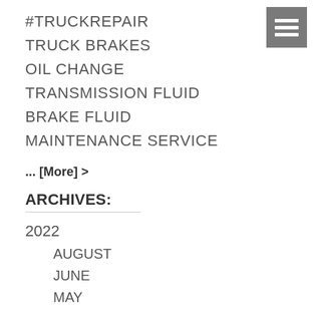[Figure (other): Hamburger menu icon (three horizontal white bars on gray square background)]
#TRUCKREPAIR
TRUCK BRAKES
OIL CHANGE
TRANSMISSION FLUID
BRAKE FLUID
MAINTENANCE SERVICE
... [More] >
ARCHIVES:
2022
AUGUST
JUNE
MAY